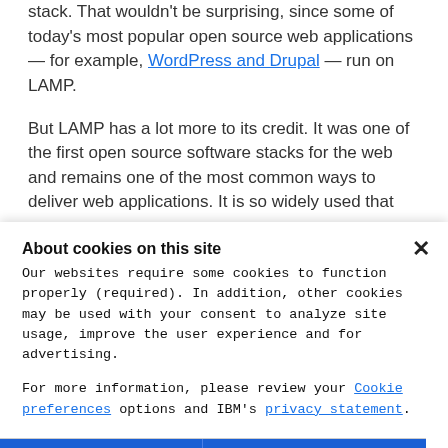stack. That wouldn't be surprising, since some of today's most popular open source web applications — for example, WordPress and Drupal — run on LAMP.
But LAMP has a lot more to its credit. It was one of the first open source software stacks for the web and remains one of the most common ways to deliver web applications. It is so widely used that
About cookies on this site
Our websites require some cookies to function properly (required). In addition, other cookies may be used with your consent to analyze site usage, improve the user experience and for advertising.
For more information, please review your Cookie preferences options and IBM's privacy statement.
Required only
Accept all